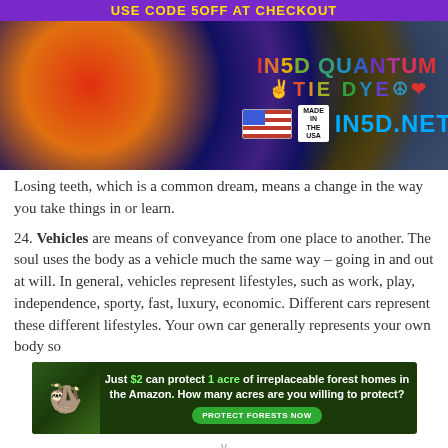[Figure (photo): IN5D Quantum Tie Dye advertisement banner with colorful tie-dye shirts and logo. Text reads 'USE CODE 5OFF AT CHECKOUT' and 'IN5D.NET MADE IN THE USA']
Losing teeth, which is a common dream, means a change in the way you take things in or learn.
24. Vehicles are means of conveyance from one place to another. The soul uses the body as a vehicle much the same way – going in and out at will. In general, vehicles represent lifestyles, such as work, play, independence, sporty, fast, luxury, economic. Different cars represent these different lifestyles. Your own car generally represents your own body so
[Figure (photo): Advertisement banner: 'Just $2 can protect 1 acre of irreplaceable forest homes in the Amazon. How many acres are you willing to protect? PROTECT FORESTS NOW']
v